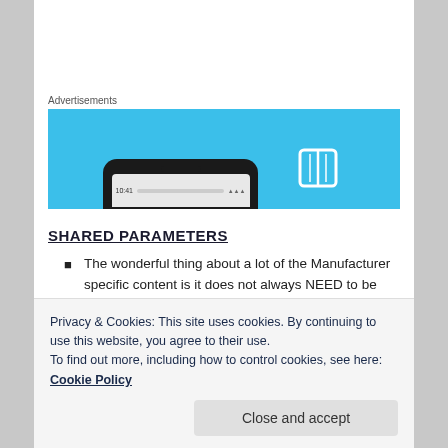Advertisements
[Figure (screenshot): Advertisement banner with blue background showing a phone mockup and book icon]
SHARED PARAMETERS
The wonderful thing about a lot of the Manufacturer specific content is it does not always NEED to be parametric. So only build families to be parametric if its appropriate! See Example 1, below.
Privacy & Cookies: This site uses cookies. By continuing to use this website, you agree to their use.
To find out more, including how to control cookies, see here: Cookie Policy
Close and accept